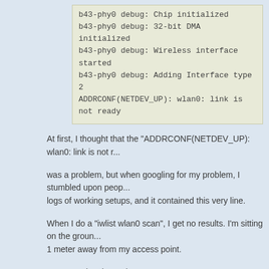b43-phy0 debug: Chip initialized
b43-phy0 debug: 32-bit DMA initialized
b43-phy0 debug: Wireless interface started
b43-phy0 debug: Adding Interface type 2
ADDRCONF(NETDEV_UP): wlan0: link is not ready
At first, I thought that the "ADDRCONF(NETDEV_UP): wlan0: link is not ready" was a problem, but when googling for my problem, I stumbled upon people logs of working setups, and it contained this very line.

When I do a "iwlist wlan0 scan", I get no results. I'm sitting on the ground 1 meter away from my access point.

I am completetly stuck.

Any Idea ?

(P.S. It worked on debian, and before that on Gentoo (and I followed the standard procedure for the installation under Gentoo))
Re: Late iBook G4 and Wifi (BCM4318) not working
by ozorba » 30 Jul 2009, 08:49